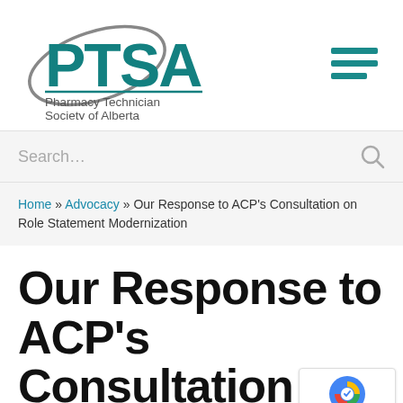[Figure (logo): PTSA logo - teal letters with circular swoosh graphic, followed by text 'Pharmacy Technician Society of Alberta']
[Figure (other): Hamburger menu icon - three teal horizontal bars]
Search...
Home » Advocacy » Our Response to ACP's Consultation on Role Statement Modernization
Our Response to ACP's Consultation on Role Statement Modernization